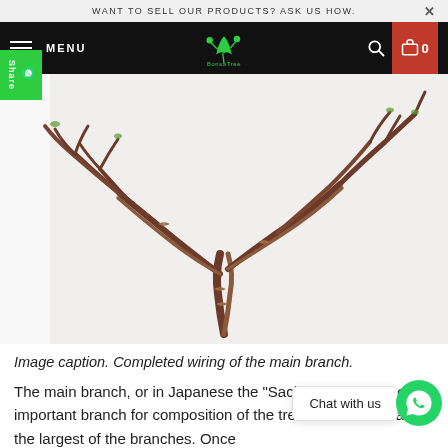WANT TO SELL OUR PRODUCTS? ASK US HOW.
[Figure (screenshot): Navigation bar with hamburger menu icon, MENU text, BonsaTree logo in center, search icon, and red cart icon with 0 items]
[Figure (photo): Close-up photo of wired bonsai tree branches on white background, showing copper wire wrapped around multiple branching twigs]
Image caption. Completed wiring of the main branch.
The main branch, or in Japanese the "Sachi-ede" is the most important branch for composition of the tree. It is also usually the largest of the branches. Once